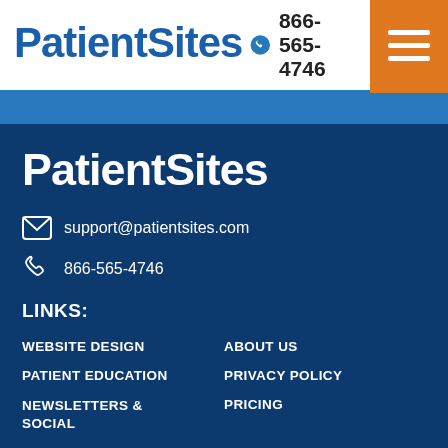PatientSites  866-565-4746
[Figure (logo): PatientSites logo in dark blue footer area]
support@patientsites.com
866-565-4746
LINKS:
WEBSITE DESIGN
ABOUT US
PATIENT EDUCATION
PRIVACY POLICY
NEWSLETTERS & SOCIAL
PRICING
LEAD AUTOMAD